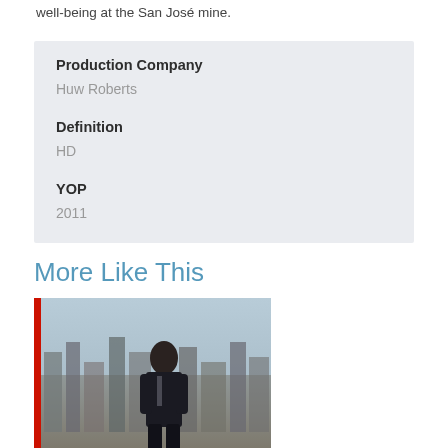well-being at the San José mine.
| Field | Value |
| --- | --- |
| Production Company | Huw Roberts |
| Definition | HD |
| YOP | 2011 |
More Like This
[Figure (photo): A man in a suit standing in front of a city skyline with buildings, vintage photograph style with a red bar on the left edge.]